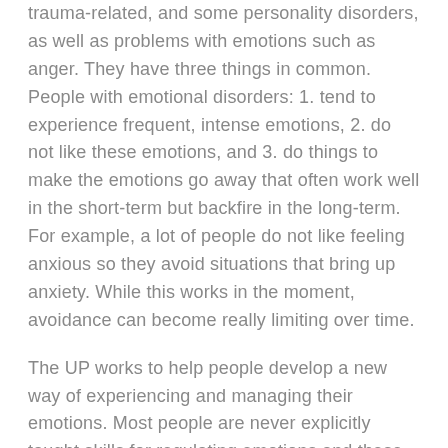trauma-related, and some personality disorders, as well as problems with emotions such as anger. They have three things in common. People with emotional disorders: 1. tend to experience frequent, intense emotions, 2. do not like these emotions, and 3. do things to make the emotions go away that often work well in the short-term but backfire in the long-term. For example, a lot of people do not like feeling anxious so they avoid situations that bring up anxiety. While this works in the moment, avoidance can become really limiting over time.
The UP works to help people develop a new way of experiencing and managing their emotions. Most people are never explicitly taught skills for regulating emotions and these can be really helpful to learn! In the UP, we teach several skills that include: getting a better understanding of emotions, mindfulness,